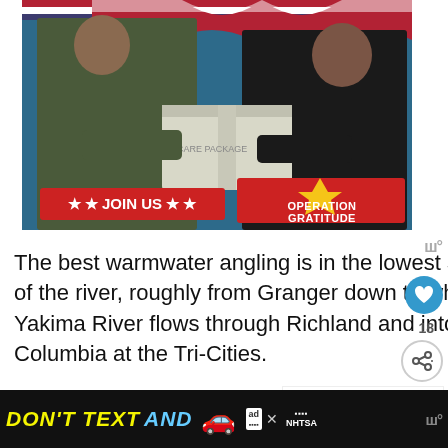[Figure (photo): Advertisement photo showing a military serviceperson in camouflage uniform receiving a care package box from a woman in dark clothing. Red and blue banner at top. JOIN US button in red with stars. Operation Gratitude logo in bottom right of image.]
The best warmwater angling is in the lowest 50 miles or so of the river, roughly from Granger down to where the Yakima River flows through Richland and into the Columbia at the Tri-Cities.
[Figure (infographic): What's Next panel with thumbnail of fishing spot and text '22 Best Fishing Spot...']
BASS FISHING (partially visible at bottom)
[Figure (infographic): DON'T TEXT AND [car emoji] advertisement banner with ad badge and NHTSA logo on black background]